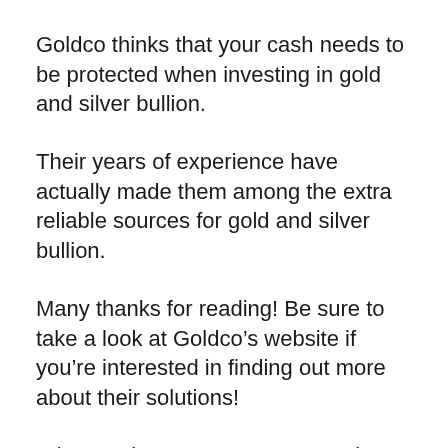Goldco thinks that your cash needs to be protected when investing in gold and silver bullion.
Their years of experience have actually made them among the extra reliable sources for gold and silver bullion.
Many thanks for reading! Be sure to take a look at Goldco’s website if you’re interested in finding out more about their solutions!
Who are they? 5 reasons to purchase from Goldco
Goldco is a leading precious metal service provider that has remained in business for over two decades. They supply a safe and